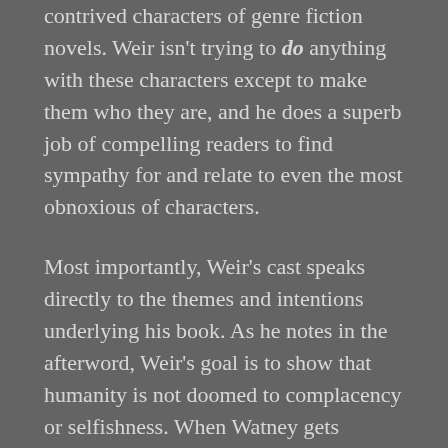contrived characters of genre fiction novels. Weir isn't trying to do anything with these characters except to make them who they are, and he does a superb job of compelling readers to find sympathy for and relate to even the most obnoxious of characters.
Most importantly, Weir's cast speaks directly to the themes and intentions underlying his book. As he notes in the afterword, Weir's goal is to show that humanity is not doomed to complacency or selfishness. When Watney gets trapped on Mars, every person at NASA, in China, and on earth is not only rooting for him, but pooling their collective resources to get him home. Weir invokes a sense of comradery among the human race, which (whether it is true of the humanity outside of his novel or not) invokes the ideal that humans have “a